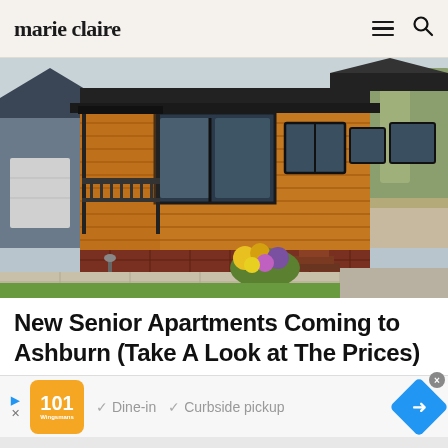marie claire
[Figure (photo): Exterior photo of a wood-clad modular/park home with large windows, a covered porch with black railings, brick foundation, steps, and colorful flowers in the foreground. Overcast sky background.]
New Senior Apartments Coming to Ashburn (Take A Look at The Prices)
[Figure (infographic): Advertisement banner with orange logo box showing '101' text, checkmarks for 'Dine-in' and 'Curbside pickup', and a blue diamond-shaped navigation arrow on the right.]